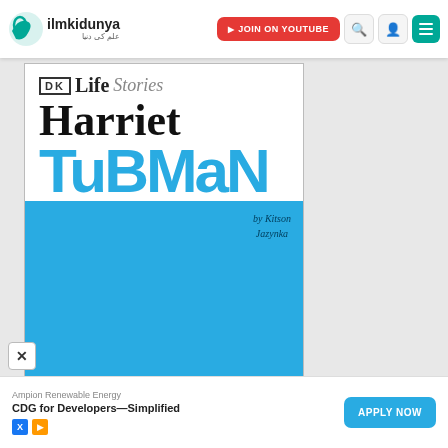[Figure (screenshot): ilmkidunya website header/navbar with logo, JOIN ON YOUTUBE button, search icon, user icon, and menu icon]
[Figure (illustration): DK Life Stories - Harriet Tubman book cover. White top section with DK Life Stories logo, 'Harriet' in black handwriting font, 'TuBMaN' in large blue block letters. Teal/cyan bottom section with blue-tinted portrait photo of Harriet Tubman and author text 'by Kitson Jazynka'.]
Ampion Renewable Energy
CDG for Developers—Simplified
APPLY NOW